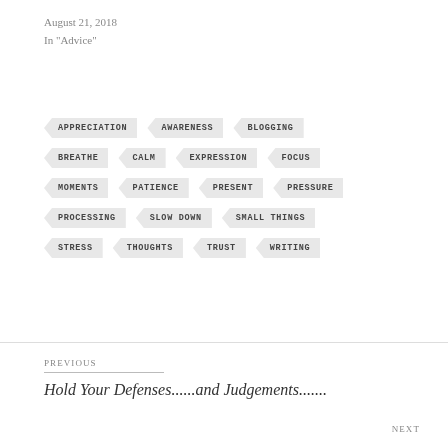August 21, 2018
In "Advice"
[Figure (infographic): Tag cloud with keyword tags: APPRECIATION, AWARENESS, BLOGGING, BREATHE, CALM, EXPRESSION, FOCUS, MOMENTS, PATIENCE, PRESENT, PRESSURE, PROCESSING, SLOW DOWN, SMALL THINGS, STRESS, THOUGHTS, TRUST, WRITING — displayed as arrow-shaped badges arranged in rows]
PREVIOUS
Hold Your Defenses......and Judgements.......
NEXT